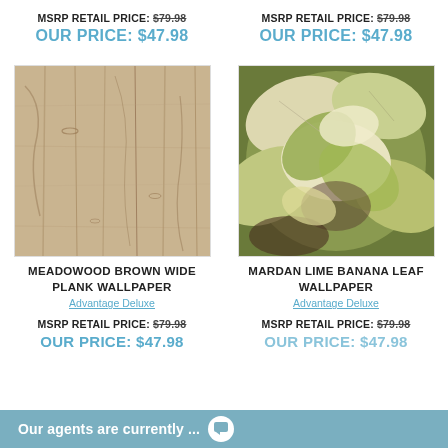MSRP RETAIL PRICE: $79.98
MSRP RETAIL PRICE: $79.98
OUR PRICE: $47.98
OUR PRICE: $47.98
[Figure (photo): Wood plank wallpaper texture in brown tones]
[Figure (photo): Tropical banana leaf wallpaper in green and cream tones]
MEADOWOOD BROWN WIDE PLANK WALLPAPER
MARDAN LIME BANANA LEAF WALLPAPER
Advantage Deluxe
Advantage Deluxe
MSRP RETAIL PRICE: $79.98
MSRP RETAIL PRICE: $79.98
OUR PRICE: $47.98
OUR PRICE: $47.98
Our agents are currently ...